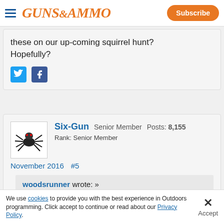GUNS&AMMO | Subscribe
these on our up-coming squirrel hunt? Hopefully?
Six-Gun Senior Member Posts: 8,155 Rank: Senior Member
November 2016 #5
woodsrunner wrote: » cool2:
[Figure (screenshot): Federal advertisement banner at bottom of page]
We use cookies to provide you with the best experience in Outdoors programming. Click accept to continue or read about our Privacy Policy.